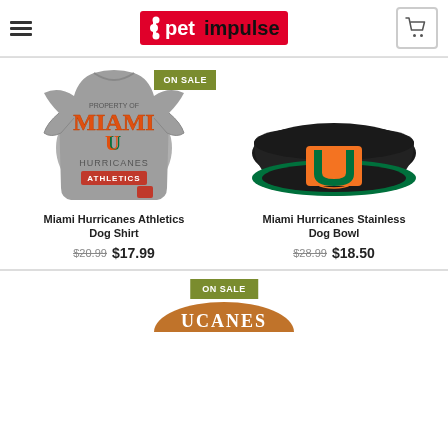petimpulse logo with hamburger menu and cart
[Figure (photo): Miami Hurricanes Athletics Dog Shirt - gray t-shirt with Miami Hurricanes Athletics branding, ON SALE badge]
Miami Hurricanes Athletics Dog Shirt
$20.99 $17.99
[Figure (photo): Miami Hurricanes Stainless Dog Bowl - black bowl with green rim and Miami U logo]
Miami Hurricanes Stainless Dog Bowl
$28.99 $18.50
[Figure (photo): Partial product image at bottom with ON SALE badge]